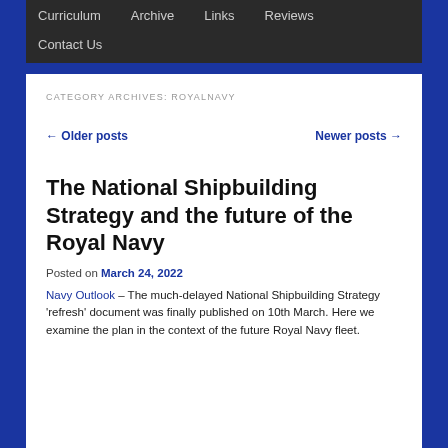Curriculum   Archive   Links   Reviews   Contact Us
CATEGORY ARCHIVES: ROYALNAVY
← Older posts    Newer posts →
The National Shipbuilding Strategy and the future of the Royal Navy
Posted on March 24, 2022
Navy Outlook – The much-delayed National Shipbuilding Strategy 'refresh' document was finally published on 10th March. Here we examine the plan in the context of the future Royal Navy fleet.